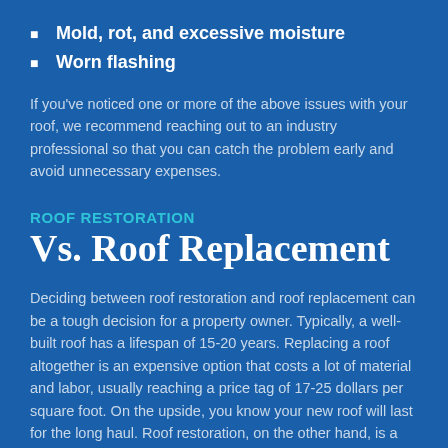Mold, rot, and excessive moisture
Worn flashing
If you've noticed one or more of the above issues with your roof, we recommend reaching out to an industry professional so that you can catch the problem early and avoid unnecessary expenses.
ROOF RESTORATION
Vs. Roof Replacement
Deciding between roof restoration and roof replacement can be a tough decision for a property owner. Typically, a well-built roof has a lifespan of 15-20 years. Replacing a roof altogether is an expensive option that costs a lot of material and labor, usually reaching a price tag of 17-25 dollars per square foot. On the upside, you know your new roof will last for the long haul. Roof restoration, on the other hand, is a less expensive